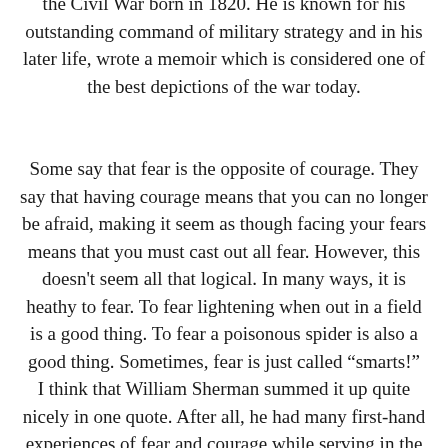William Tecumseh Sherman was a Union General in the Civil War born in 1820. He is known for his outstanding command of military strategy and in his later life, wrote a memoir which is considered one of the best depictions of the war today.
Some say that fear is the opposite of courage. They say that having courage means that you can no longer be afraid, making it seem as though facing your fears means that you must cast out all fear. However, this doesn't seem all that logical. In many ways, it is heathy to fear. To fear lightening when out in a field is a good thing. To fear a poisonous spider is also a good thing. Sometimes, fear is just called “smarts!”
I think that William Sherman summed it up quite nicely in one quote. After all, he had many first-hand experiences of fear and courage while serving in the war. He explains that having courage means being